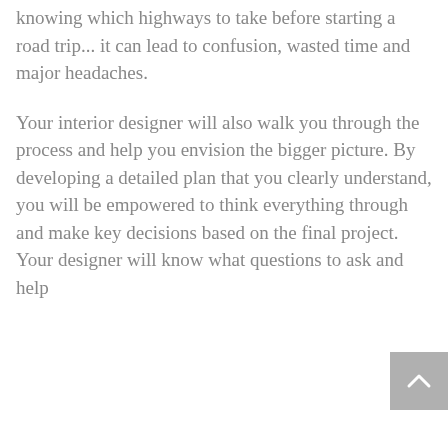knowing which highways to take before starting a road trip... it can lead to confusion, wasted time and major headaches.
Your interior designer will also walk you through the process and help you envision the bigger picture. By developing a detailed plan that you clearly understand, you will be empowered to think everything through and make key decisions based on the final project. Your designer will know what questions to ask and help